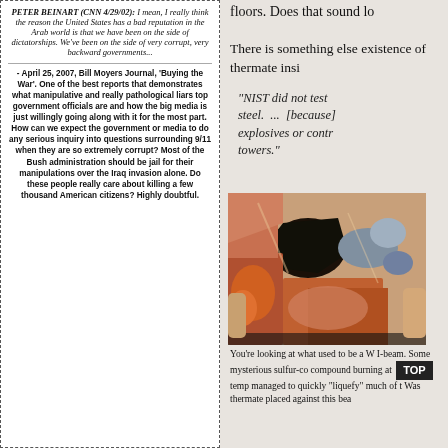PETER BEINART (CNN 4/29/02): I mean, I really think the reason the United States has a bad reputation in the Arab world is that we have been on the side of dictatorships. We've been on the side of very corrupt, very backward governments...
- April 25, 2007, Bill Moyers Journal, 'Buying the War'. One of the best reports that demonstrates what manipulative and really pathological liars top government officials are and how the big media is just willingly going along with it for the most part. How can we expect the government or media to do any serious inquiry into questions surrounding 9/11 when they are so extremely corrupt? Most of the Bush administration should be jail for their manipulations over the Iraq invasion alone. Do these people really care about killing a few thousand American citizens? Highly doubtful.
floors. Does that sound lo
There is something else existence of thermate insi
"NIST did not test steel. ... [because] explosives or contr towers."
[Figure (photo): Close-up photo of a corroded/damaged steel I-beam with reddish, orange and dark discoloration, held by hands, showing evidence of burning or chemical reaction]
You're looking at what used to be a W I-beam. Some mysterious sulfur-co compound burning at temp managed to quickly "liquefy" much of t Was thermate placed against this bea